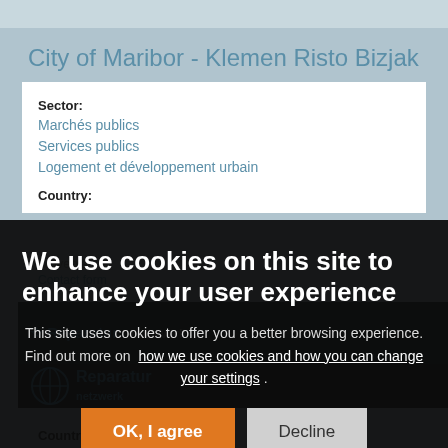City of Maribor - Klemen Risto Bizjak
| Sector: |
| Marchés publics |
| Services publics |
| Logement et développement urbain |
| Country: |
Slovenia
Contact form
Reparatur netzwerk / Réseau
We use cookies on this site to enhance your user experience
This site uses cookies to offer you a better browsing experience. Find out more on how we use cookies and how you can change your settings .
OK, I agree
Decline
Country: